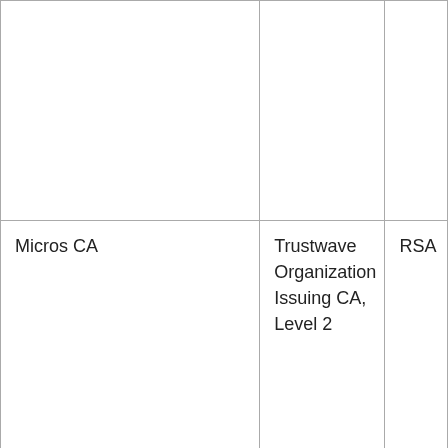|  |  |  |
| Micros CA | Trustwave Organization Issuing CA, Level 2 | RSA |
| Nederlandse Orde van Advocaten - Dutch Bar Association | DigiNotar Root CA | RSA |